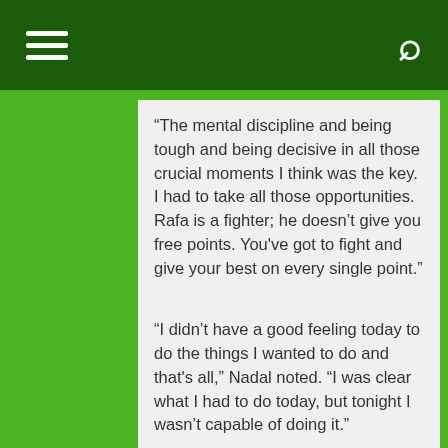“The mental discipline and being tough and being decisive in all those crucial moments I think was the key. I had to take all those opportunities. Rafa is a fighter; he doesn’t give you free points. You’ve got to fight and give your best on every single point.”
“I didn’t have a good feeling today to do the things I wanted to do and that's all,” Nadal noted. “I was clear what I had to do today, but tonight I wasn’t capable of doing it.”
Thus there will be no Nadal vs. Novak Djokovic